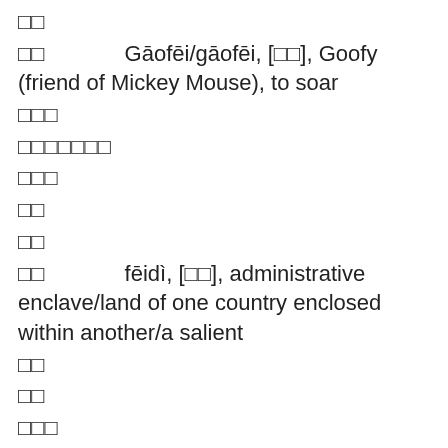□□
□□        Gāofēi/gāofēi, [□□], Goofy (friend of Mickey Mouse), to soar
□□□
□□□□□□□
□□□
□□
□□
□□        fēidì, [□□], administrative enclave/land of one country enclosed within another/a salient
□□
□□
□□□
□□
□□□□        lóngfēifèngwǔ, [□□□□], flamboyant or bold cursive calligraphy (idiom)
□□